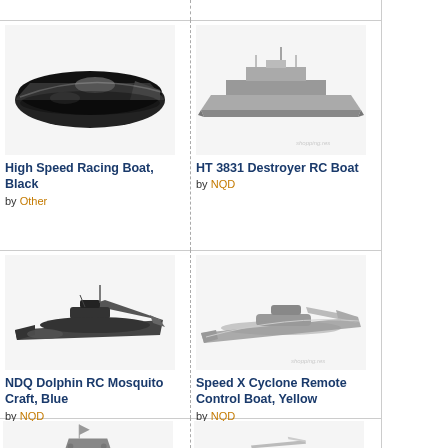[Figure (photo): Black high speed racing boat, top-down angled view]
High Speed Racing Boat, Black
by Other
[Figure (photo): HT 3831 Destroyer RC Boat - grey military ship model]
HT 3831 Destroyer RC Boat
by NQD
[Figure (photo): NDQ Dolphin RC Mosquito Craft blue boat model]
NDQ Dolphin RC Mosquito Craft, Blue
by NQD
[Figure (photo): Speed X Cyclone Remote Control Boat, Yellow - grey speed boat model]
Speed X Cyclone Remote Control Boat, Yellow
by NQD
[Figure (photo): Partial view of a boat model at bottom left]
[Figure (photo): Partial view of a boat model at bottom right]